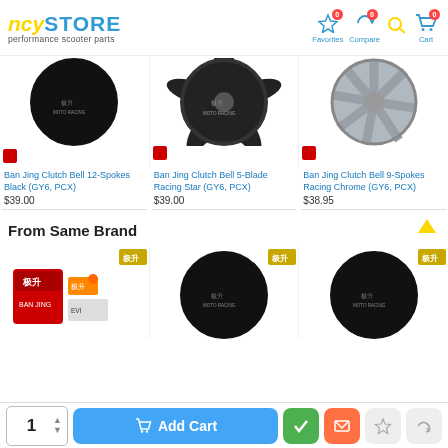NCY STORE - Performance Scooter Parts
[Figure (photo): Ban Jing Clutch Bell 12-Spokes Black product image]
Ban Jing Clutch Bell 12-Spokes Black (GY6, PCX)
$39.00
[Figure (photo): Ban Jing Clutch Bell 5-Blade Racing Star product image]
Ban Jing Clutch Bell 5-Blade Racing Star (GY6, PCX)
$39.00
[Figure (photo): Ban Jing Clutch Bell 9-Spokes Racing Chrome product image]
Ban Jing Clutch Bell 9-Spokes Racing Chrome (GY6, PCX)
$38.95
From Same Brand
[Figure (photo): Ban Jing CDI product image]
[Figure (photo): Ban Jing clutch bell product image]
[Figure (photo): Ban Jing clutch bell product image]